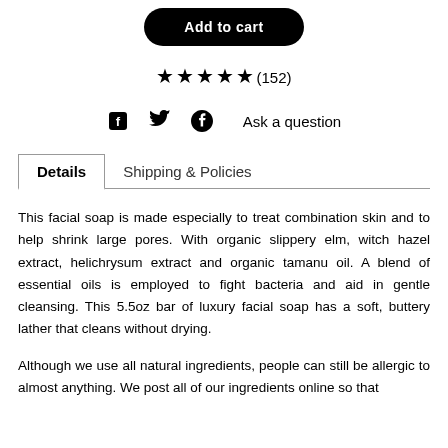[Figure (other): Add to cart button — black rounded rectangle with white bold text 'Add to cart']
★★★★★(152)
🖫  🐦  𝗣  Ask a question
Details | Shipping & Policies (tab navigation)
This facial soap is made especially to treat combination skin and to help shrink large pores. With organic slippery elm, witch hazel extract, helichrysum extract and organic tamanu oil. A blend of essential oils is employed to fight bacteria and aid in gentle cleansing. This 5.5oz bar of luxury facial soap has a soft, buttery lather that cleans without drying.
Although we use all natural ingredients, people can still be allergic to almost anything. We post all of our ingredients online so that